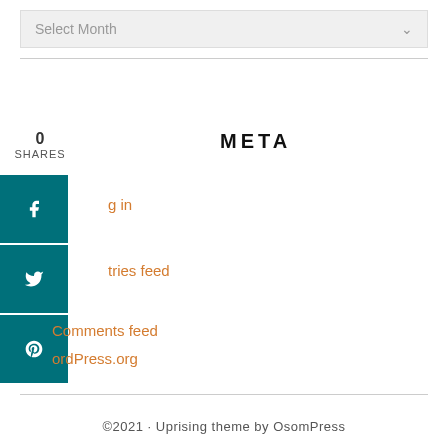Select Month
META
Log in
Entries feed
Comments feed
WordPress.org
©2021 · Uprising theme by OsomPress